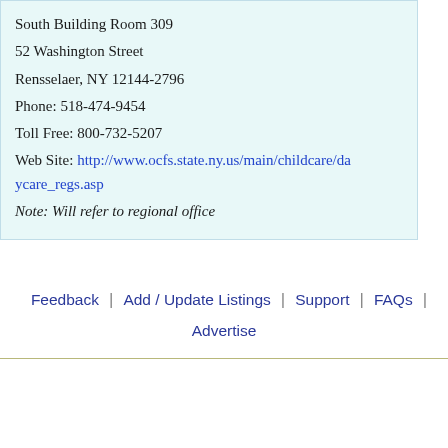South Building Room 309
52 Washington Street
Rensselaer, NY 12144-2796
Phone: 518-474-9454
Toll Free: 800-732-5207
Web Site: http://www.ocfs.state.ny.us/main/childcare/daycare_regs.asp
Note: Will refer to regional office
Feedback | Add / Update Listings | Support | FAQs | Advertise